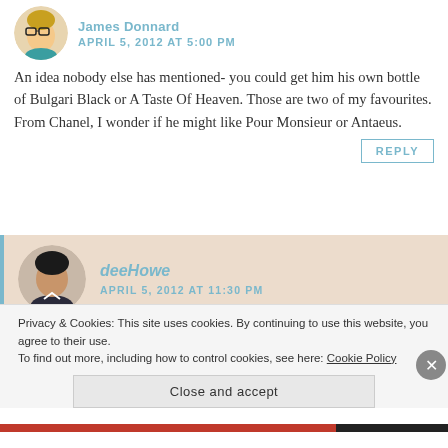James Donnard — APRIL 5, 2012 AT 5:00 PM
An idea nobody else has mentioned- you could get him his own bottle of Bulgari Black or A Taste Of Heaven. Those are two of my favourites. From Chanel, I wonder if he might like Pour Monsieur or Antaeus.
REPLY
deeHowe — APRIL 5, 2012 AT 11:30 PM
Privacy & Cookies: This site uses cookies. By continuing to use this website, you agree to their use.
To find out more, including how to control cookies, see here: Cookie Policy
Close and accept